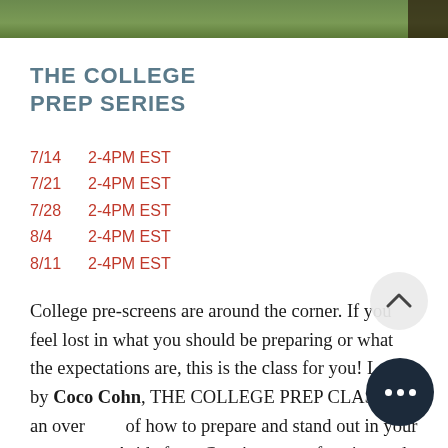[Figure (photo): Top strip of a photo showing green grass/outdoor scene with dark figure on right edge]
THE COLLEGE PREP SERIES
7/14    2-4PM EST
7/21    2-4PM EST
7/28    2-4PM EST
8/4     2-4PM EST
8/11    2-4PM EST
College pre-screens are around the corner. If you feel lost in what you should be preparing or what the expectations are, this is the class for you! Led by Coco Cohn, THE COLLEGE PREP CLASS is an over[view] of how to prepare and stand out in your pre-screen. Aside from Coco's vast performing and coaching experience, she was also an adjunct at